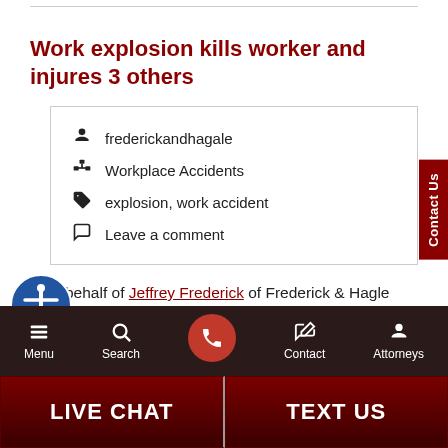Work explosion kills worker and injures 3 others
frederickandhagale | Workplace Accidents | explosion, work accident | Leave a comment
On behalf of Jeffrey Frederick of Frederick & Hagle posted in Workplace Accidents on Friday, August 24, 2012.
Menu | Search | Contact | Attorneys | LIVE CHAT | TEXT US